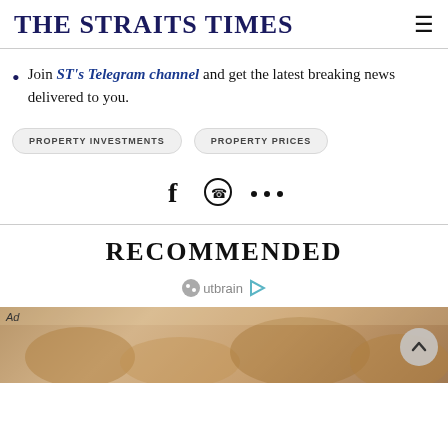THE STRAITS TIMES
Join ST's Telegram channel and get the latest breaking news delivered to you.
PROPERTY INVESTMENTS   PROPERTY PRICES
[Figure (infographic): Social share icons: Facebook, WhatsApp, and more (...)]
RECOMMENDED
[Figure (logo): Outbrain logo with play button icon]
[Figure (photo): Ad image showing coins and metallic objects with 'Ad' label]